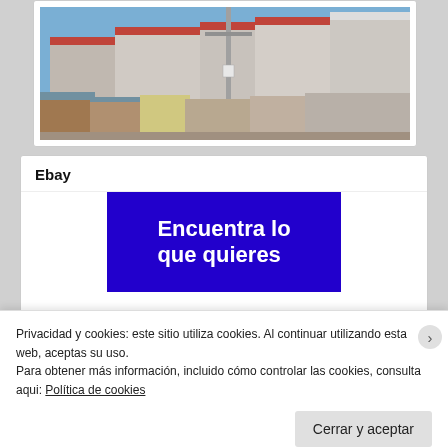[Figure (photo): Urban street scene with buildings with red roofs, a utility pole, and informal housing under a blue sky.]
Ebay
[Figure (screenshot): Ebay banner advertisement in blue background with white bold text reading 'Encuentra lo que quieres']
Privacidad y cookies: este sitio utiliza cookies. Al continuar utilizando esta web, aceptas su uso.
Para obtener más información, incluido cómo controlar las cookies, consulta aqui: Política de cookies
Cerrar y aceptar